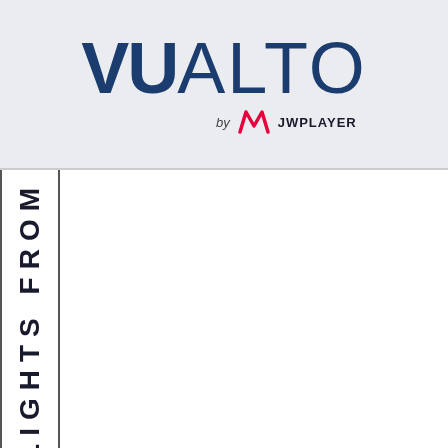[Figure (logo): VUALTO by JW Player logo on light gray background. Large bold dark blue text 'VU' followed by lighter 'ALTO', with 'by' italic and JW Player logo mark and 'JWPLAYER' text beneath.]
HIGHLIGHTS FROM